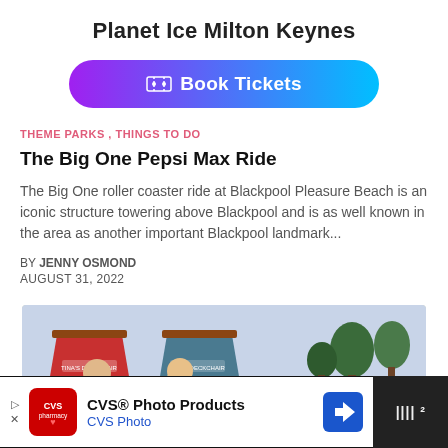Planet Ice Milton Keynes
[Figure (other): Book Tickets button with gradient background from purple to cyan, ticket icon on left]
THEME PARKS , THINGS TO DO
The Big One Pepsi Max Ride
The Big One roller coaster ride at Blackpool Pleasure Beach is an iconic structure towering above Blackpool and is as well known in the area as another important Blackpool landmark...
BY JENNY OSMOND
AUGUST 31, 2022
[Figure (photo): Two young children sitting in red and teal/blue deckchairs outdoors with trees in background]
[Figure (other): CVS Photo Products advertisement banner at bottom of page with CVS pharmacy logo, navigation icon, and dark right panel]